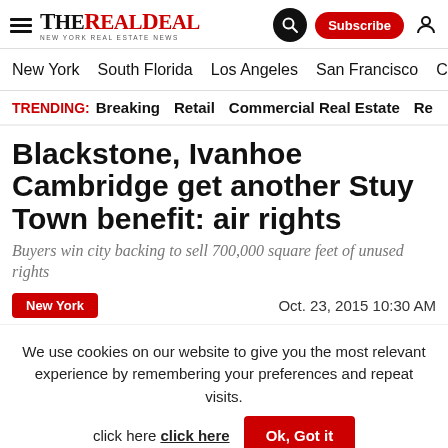The Real Deal — New York Real Estate News
New York  South Florida  Los Angeles  San Francisco  Chic
TRENDING: Breaking  Retail  Commercial Real Estate  Re
Blackstone, Ivanhoe Cambridge get another Stuy Town benefit: air rights
Buyers win city backing to sell 700,000 square feet of unused rights
New York   Oct. 23, 2015 10:30 AM
We use cookies on our website to give you the most relevant experience by remembering your preferences and repeat visits. click here   Ok, Got it